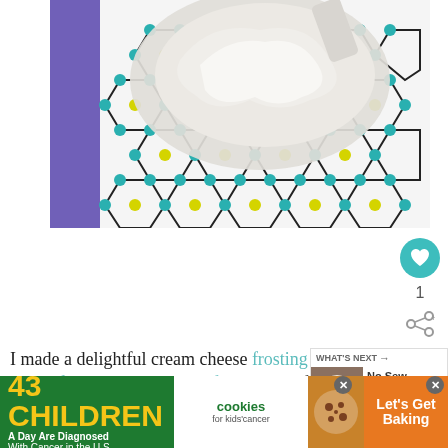[Figure (photo): Overhead photo of a white bowl with cream cheese frosting being mixed, sitting on a decorative mat with a hexagonal molecular/geometric pattern in teal, yellow and black on white background, with a purple silicone mat underneath.]
I made a delightful cream cheese frosting recipe from Two Sisters Crafting but I, of course, didn't follow
[Figure (photo): What's Next promo panel showing thumbnail of a gnome craft with text: WHAT'S NEXT → No Sew Gnome Sim...]
[Figure (photo): Advertisement banner: 43 CHILDREN A Day Are Diagnosed With Cancer in the U.S. | cookies for kids' cancer | Let's Get Baking (with cookie image)]